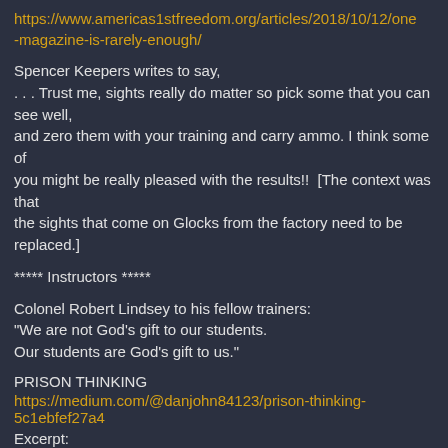https://www.americas1stfreedom.org/articles/2018/10/12/one-magazine-is-rarely-enough/
Spencer Keepers writes to say,
. . . Trust me, sights really do matter so pick some that you can see well,
and zero them with your training and carry ammo. I think some of
you might be really pleased with the results!!  [The context was that
the sights that come on Glocks from the factory need to be replaced.]
***** Instructors *****
Colonel Robert Lindsey to his fellow trainers:
"We are not God's gift to our students.
Our students are God's gift to us."
PRISON THINKING
https://medium.com/@danjohn84123/prison-thinking-5c1ebfef27a4
Excerpt: